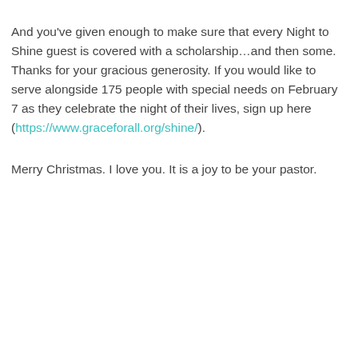And you've given enough to make sure that every Night to Shine guest is covered with a scholarship…and then some. Thanks for your gracious generosity. If you would like to serve alongside 175 people with special needs on February 7 as they celebrate the night of their lives, sign up here (https://www.graceforall.org/shine/).
Merry Christmas. I love you. It is a joy to be your pastor.